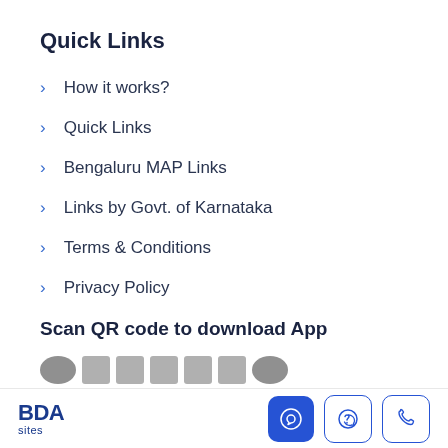Quick Links
How it works?
Quick Links
Bengaluru MAP Links
Links by Govt. of Karnataka
Terms & Conditions
Privacy Policy
Scan QR code to download App
[Figure (other): Partial QR code strip partially visible at bottom of content area]
BDA sites — footer with chat, WhatsApp, and phone icon buttons